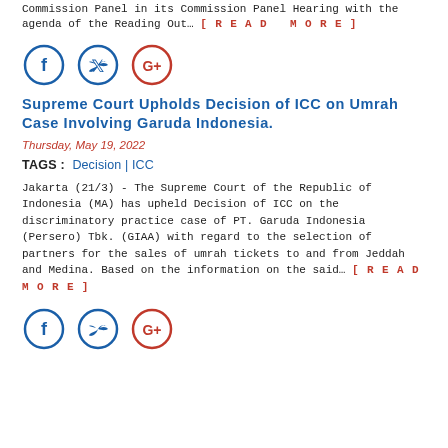Commission Panel in its Commission Panel Hearing with the agenda of the Reading Out… [READ MORE]
[Figure (other): Three social media icons: Facebook (blue circle with f), Twitter (blue circle with bird), Google+ (red circle with G+)]
Supreme Court Upholds Decision of ICC on Umrah Case Involving Garuda Indonesia.
Thursday, May 19, 2022
TAGS : Decision | ICC
Jakarta (21/3) - The Supreme Court of the Republic of Indonesia (MA) has upheld Decision of ICC on the discriminatory practice case of PT. Garuda Indonesia (Persero) Tbk. (GIAA) with regard to the selection of partners for the sales of umrah tickets to and from Jeddah and Medina. Based on the information on the said… [READ MORE]
[Figure (other): Three social media icons: Facebook (blue circle with f), Twitter (blue circle with bird), Google+ (red circle with G+)]